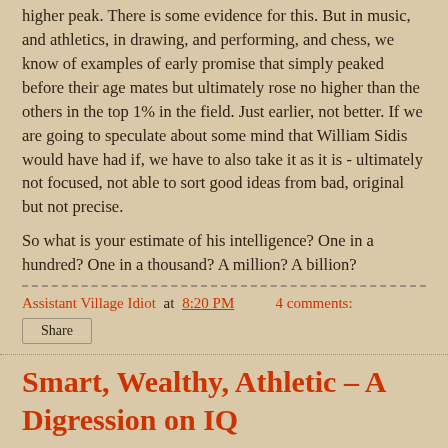higher peak. There is some evidence for this. But in music, and athletics, in drawing, and performing, and chess, we know of examples of early promise that simply peaked before their age mates but ultimately rose no higher than the others in the top 1% in the field. Just earlier, not better. If we are going to speculate about some mind that William Sidis would have had if, we have to also take it as it is - ultimately not focused, not able to sort good ideas from bad, original but not precise.
So what is your estimate of his intelligence? One in a hundred? One in a thousand? A million? A billion?
Assistant Village Idiot at 8:20 PM    4 comments:
Share
Smart, Wealthy, Athletic – A Digression on IQ